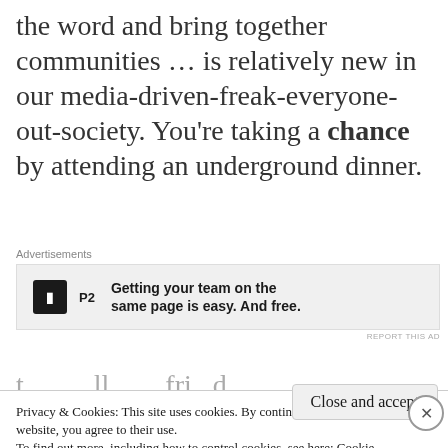the word and bring together communities … is relatively new in our media-driven-freak-everyone-out-society. You're taking a chance by attending an underground dinner.
[Figure (other): Advertisement banner for P2 — 'Getting your team on the same page is easy. And free.' with P2 logo]
Privacy & Cookies: This site uses cookies. By continuing to use this website, you agree to their use. To find out more, including how to control cookies, see here: Cookie Policy